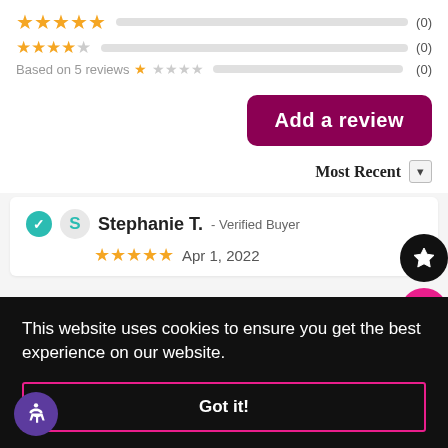[Figure (infographic): Star rating rows showing 5-star, 4-star, and 1-star rows with empty progress bars and (0) counts, plus 'Based on 5 reviews' text with star icons]
[Figure (other): Add a review button (dark pink/maroon rounded rectangle)]
Most Recent
Stephanie T. - Verified Buyer
Apr 1, 2022
This website uses cookies to ensure you get the best experience on our website.
Got it!